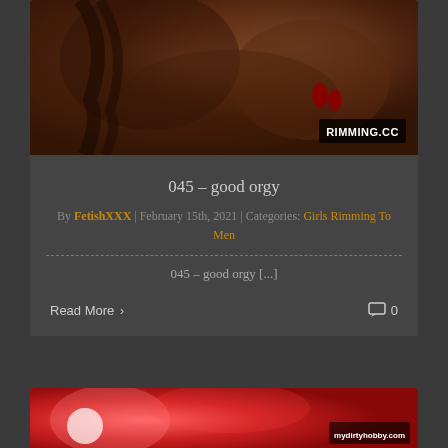[Figure (photo): Thumbnail image for post '045 - good orgy' with watermark RIMMING.CC on dark background]
045 – good orgy
By FetishXXX | February 15th, 2021 | Categories: Girls Rimming To Men
045 – good orgy [...]
Read More  0
[Figure (photo): Thumbnail image for second post with mydirtyhobby.com watermark]